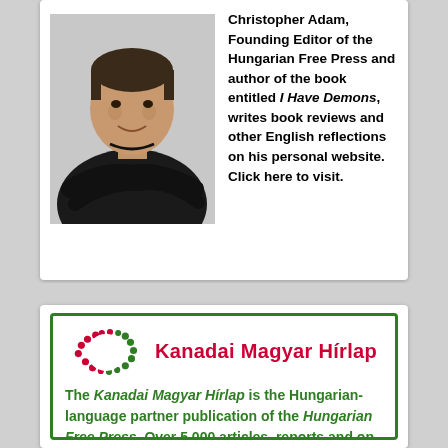[Figure (photo): Black and white photo of a man in a dark sweater with arms crossed, smiling]
Christopher Adam, Founding Editor of the Hungarian Free Press and author of the book entitled I Have Demons, writes book reviews and other English reflections on his personal website. Click here to visit.
[Figure (logo): Kanadai Magyar Hirlap logo with circular dot pattern in red and green]
The Kanadai Magyar Hirlap is the Hungarian-language partner publication of the Hungarian Free Press. Over 5,000 articles, reports and op-eds have appeared in KMH on Hungary, the Hungarian diaspora, on